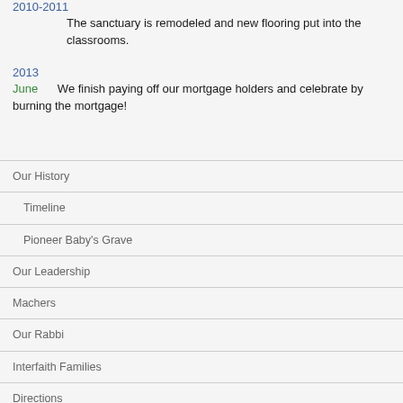2010-2011
The sanctuary is remodeled and new flooring put into the classrooms.
2013
June    We finish paying off our mortgage holders and celebrate by burning the mortgage!
Our History
Timeline
Pioneer Baby's Grave
Our Leadership
Machers
Our Rabbi
Interfaith Families
Directions
Reform Judaism